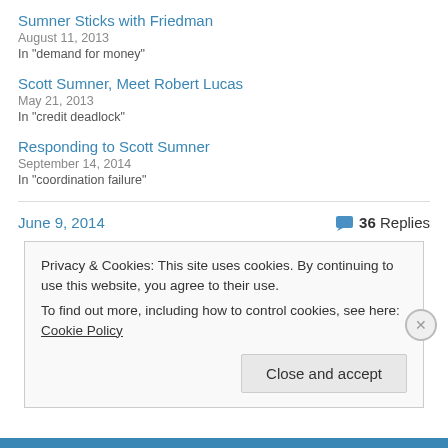Sumner Sticks with Friedman
August 11, 2013
In "demand for money"
Scott Sumner, Meet Robert Lucas
May 21, 2013
In "credit deadlock"
Responding to Scott Sumner
September 14, 2014
In "coordination failure"
June 9, 2014
36 Replies
Privacy & Cookies: This site uses cookies. By continuing to use this website, you agree to their use.
To find out more, including how to control cookies, see here: Cookie Policy
Close and accept